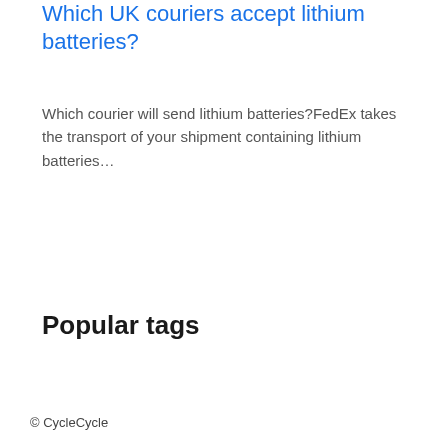Which UK couriers accept lithium batteries?
Which courier will send lithium batteries?FedEx takes the transport of your shipment containing lithium batteries…
Popular tags
© CycleCycle